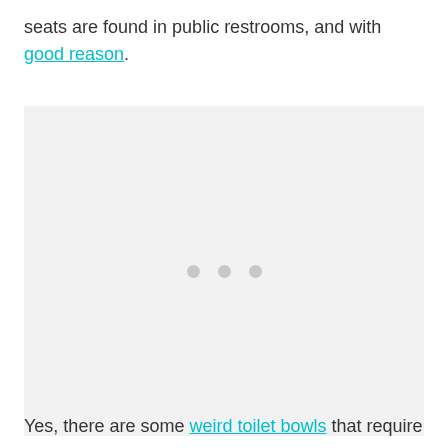seats are found in public restrooms, and with good reason.
[Figure (photo): Loading placeholder with three grey dots on a light grey background]
Yes, there are some weird toilet bowls that require